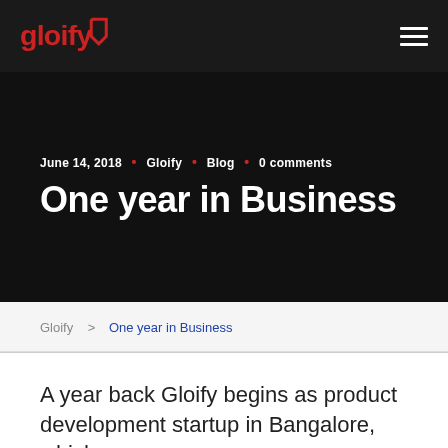gloify [logo] [hamburger menu]
June 14, 2018 • Gloify • Blog • 0 comments
One year in Business
Gloify > One year in Business
A year back Gloify begins as product development startup in Bangalore, which